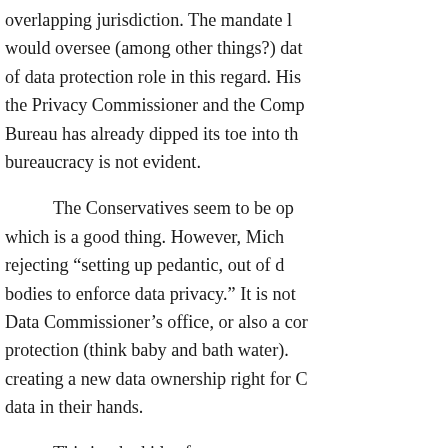overlapping jurisdiction. The mandate would oversee (among other things?) data of data protection role in this regard. His the Privacy Commissioner and the Compe Bureau has already dipped its toe into th bureaucracy is not evident.

The Conservatives seem to be op which is a good thing. However, Mich rejecting “setting up pedantic, out of d bodies to enforce data privacy.” It is not Data Commissioner’s office, or also a cor protection (think baby and bath water). creating a new data ownership right for C data in their hands.

This is a bad idea for many reas personal data will do little to protect Cana truly is no privacy because the commerc will include a transfer of any data right wealthy and those less well off. The rich no choice but to sell their data. Further, rights (and not just for individuals) has rights are just too complicated. There